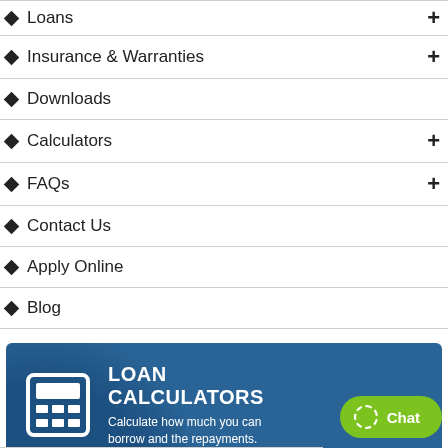Loans
Insurance & Warranties
Downloads
Calculators
FAQs
Contact Us
Apply Online
Blog
[Figure (infographic): Loan Calculators banner with calculator icon. Text: LOAN CALCULATORS. Calculate how much you can borrow and the repayments.]
Chat